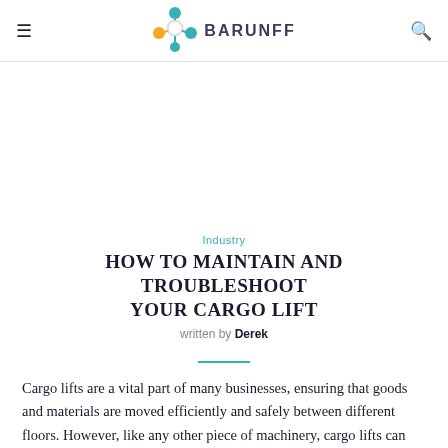BARUNFF
Industry
HOW TO MAINTAIN AND TROUBLESHOOT YOUR CARGO LIFT
written by Derek
Cargo lifts are a vital part of many businesses, ensuring that goods and materials are moved efficiently and safely between different floors. However, like any other piece of machinery, cargo lifts can